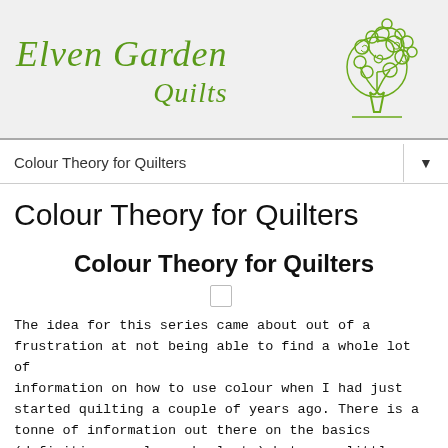[Figure (logo): Elven Garden Quilts logo with decorative tree illustration in green]
Colour Theory for Quilters
Colour Theory for Quilters
Colour Theory for Quilters
The idea for this series came about out of a frustration at not being able to find a whole lot of information on how to use colour when I had just started quilting a couple of years ago. There is a tonne of information out there on the basics (definitions, colour wheel etc) but very little linking it to the practical stuff - how to choose a